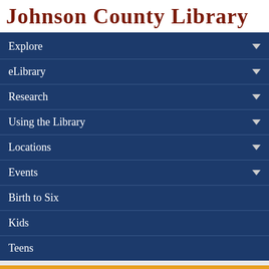Johnson County Library
Explore
eLibrary
Research
Using the Library
Locations
Events
Birth to Six
Kids
Teens
Search
Home » Teens » elementia » Article » Time It Takes to Sober Up